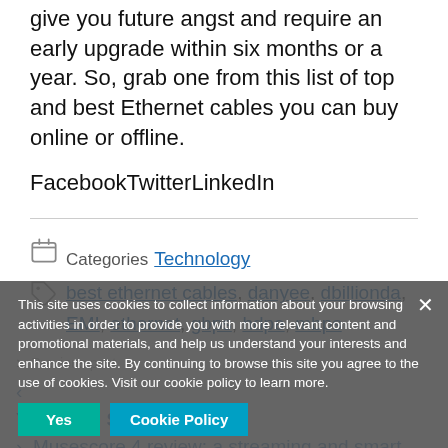give you future angst and require an early upgrade within six months or a year. So, grab one from this list of top and best Ethernet cables you can buy online or offline.
FacebookTwitterLinkedIn
Technology (category link)
best ethernet cables, danyee, dbillionda, EMI, ethernet, gbps, hdpe, mbps
Cookie notice: This site uses cookies to collect information about your browsing activities in order to provide you with more relevant content and promotional materials, and help us understand your interests and enhance the site. By continuing to browse this site you agree to the use of cookies. Visit our cookie policy to learn more.